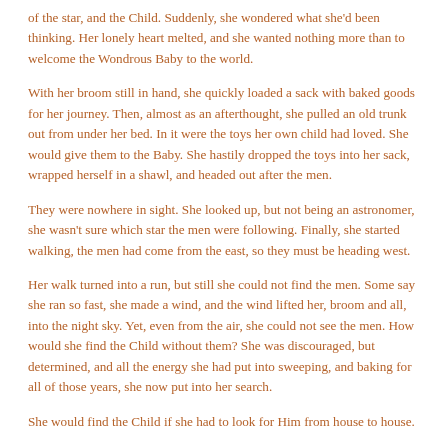of the star, and the Child. Suddenly, she wondered what she'd been thinking. Her lonely heart melted, and she wanted nothing more than to welcome the Wondrous Baby to the world.
With her broom still in hand, she quickly loaded a sack with baked goods for her journey. Then, almost as an afterthought, she pulled an old trunk out from under her bed. In it were the toys her own child had loved. She would give them to the Baby. She hastily dropped the toys into her sack, wrapped herself in a shawl, and headed out after the men.
They were nowhere in sight. She looked up, but not being an astronomer, she wasn't sure which star the men were following. Finally, she started walking, the men had come from the east, so they must be heading west.
Her walk turned into a run, but still she could not find the men. Some say she ran so fast, she made a wind, and the wind lifted her, broom and all, into the night sky. Yet, even from the air, she could not see the men. How would she find the Child without them? She was discouraged, but determined, and all the energy she had put into sweeping, and baking for all of those years, she now put into her search.
She would find the Child if she had to look for Him from house to house.